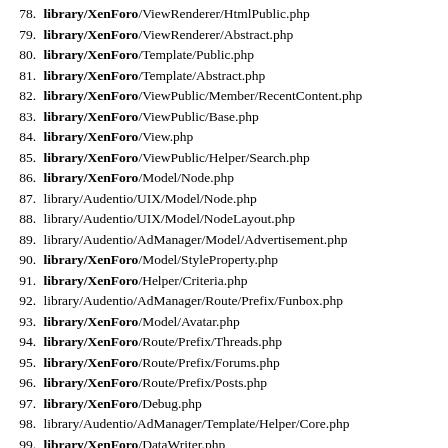78. library/XenForo/ViewRenderer/HtmlPublic.php
79. library/XenForo/ViewRenderer/Abstract.php
80. library/XenForo/Template/Public.php
81. library/XenForo/Template/Abstract.php
82. library/XenForo/ViewPublic/Member/RecentContent.php
83. library/XenForo/ViewPublic/Base.php
84. library/XenForo/View.php
85. library/XenForo/ViewPublic/Helper/Search.php
86. library/XenForo/Model/Node.php
87. library/Audentio/UIX/Model/Node.php
88. library/Audentio/UIX/Model/NodeLayout.php
89. library/Audentio/AdManager/Model/Advertisement.php
90. library/XenForo/Model/StyleProperty.php
91. library/XenForo/Helper/Criteria.php
92. library/Audentio/AdManager/Route/Prefix/Funbox.php
93. library/XenForo/Model/Avatar.php
94. library/XenForo/Route/Prefix/Threads.php
95. library/XenForo/Route/Prefix/Forums.php
96. library/XenForo/Route/Prefix/Posts.php
97. library/XenForo/Debug.php
98. library/Audentio/AdManager/Template/Helper/Core.php
99. library/XenForo/DataWriter.php
100. library/Audentio/AdManager/DataWriter/Advertisement.php
101. library/XenForo/Db.php
102. library/Audentio/AdManager/Model/Statistic.php